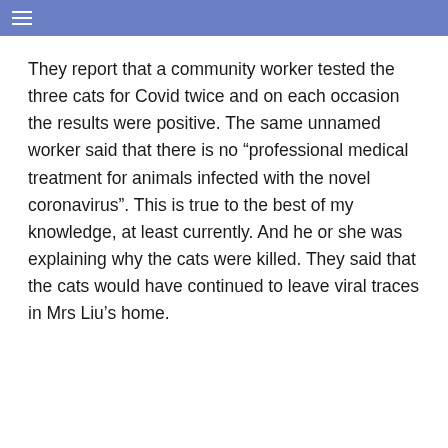≡
They report that a community worker tested the three cats for Covid twice and on each occasion the results were positive. The same unnamed worker said that there is no “professional medical treatment for animals infected with the novel coronavirus”. This is true to the best of my knowledge, at least currently. And he or she was explaining why the cats were killed. They said that the cats would have continued to leave viral traces in Mrs Liu’s home.